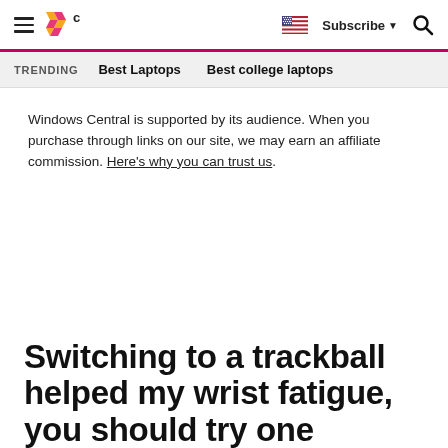Windows Central — Subscribe | Search
TRENDING — Best Laptops — Best college laptops
Windows Central is supported by its audience. When you purchase through links on our site, we may earn an affiliate commission. Here's why you can trust us.
Switching to a trackball helped my wrist fatigue, you should try one